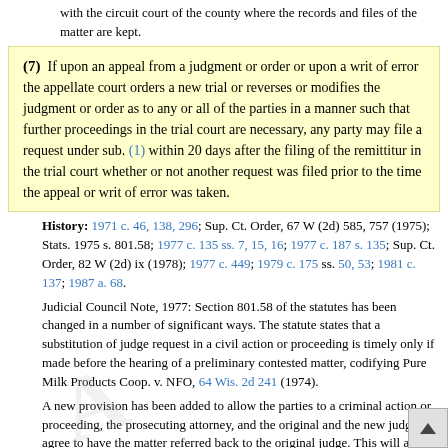with the circuit court of the county where the records and files of the matter are kept.
(7) If upon an appeal from a judgment or order or upon a writ of error the appellate court orders a new trial or reverses or modifies the judgment or order as to any or all of the parties in a manner such that further proceedings in the trial court are necessary, any party may file a request under sub. (1) within 20 days after the filing of the remittitur in the trial court whether or not another request was filed prior to the time the appeal or writ of error was taken.
History: 1971 c. 46, 138, 296; Sup. Ct. Order, 67 W (2d) 585, 757 (1975); Stats. 1975 s. 801.58; 1977 c. 135 ss. 7, 15, 16; 1977 c. 187 s. 135; Sup. Ct. Order, 82 W (2d) ix (1978); 1977 c. 449; 1979 c. 175 ss. 50, 53; 1981 c. 137; 1987 a. 68.
Judicial Council Note, 1977: Section 801.58 of the statutes has been changed in a number of significant ways. The statute states that a substitution of judge request in a civil action or proceeding is timely only if made before the hearing of a preliminary contested matter, codifying Pure Milk Products Coop. v. NFO, 64 Wis. 2d 241 (1974).
A new provision has been added to allow the parties to a criminal action or proceeding, the prosecuting attorney, and the original and the new judge to agree to have the matter referred back to the original judge. This will aid the administration of justice in those cases where it is advantageous for everyone concerned to have the original judge take back the matter. [Bill 74-S]
Judicial Council Committee's Note, 1977: Sub. (1) is amended to a plaintiff 60 days from the time the summons and complaint are